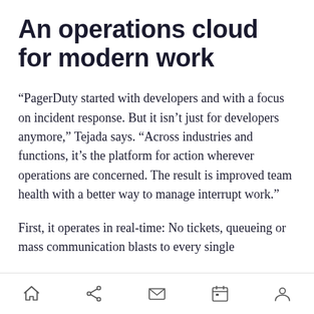An operations cloud for modern work
“PagerDuty started with developers and with a focus on incident response. But it isn’t just for developers anymore,” Tejada says. “Across industries and functions, it’s the platform for action wherever operations are concerned. The result is improved team health with a better way to manage interrupt work.”
First, it operates in real-time: No tickets, queueing or mass communication blasts to every single
[navigation bar with home, share, mail, calendar, profile icons]